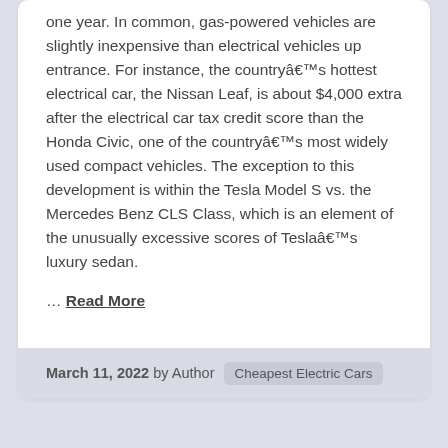one year. In common, gas-powered vehicles are slightly inexpensive than electrical vehicles up entrance. For instance, the countryâ€™s hottest electrical car, the Nissan Leaf, is about $4,000 extra after the electrical car tax credit score than the Honda Civic, one of the countryâ€™s most widely used compact vehicles. The exception to this development is within the Tesla Model S vs. the Mercedes Benz CLS Class, which is an element of the unusually excessive scores of Teslaâ€™s luxury sedan.
… Read More
March 11, 2022 by Author  Cheapest Electric Cars